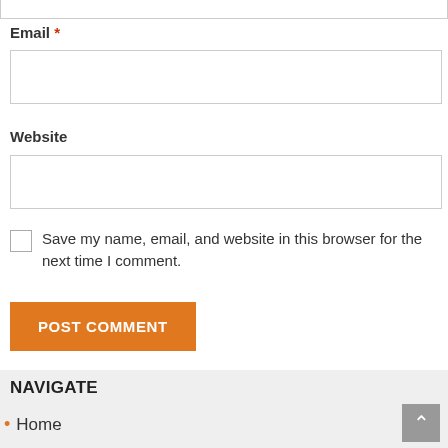Email *
[Figure (screenshot): Empty email input text field with light gray border]
Website
[Figure (screenshot): Empty website input text field with light gray border]
Save my name, email, and website in this browser for the next time I comment.
POST COMMENT
NAVIGATE
Home